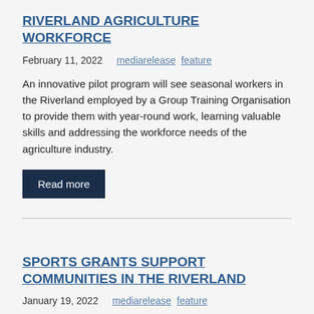RIVERLAND AGRICULTURE WORKFORCE
February 11, 2022   mediarelease feature
An innovative pilot program will see seasonal workers in the Riverland employed by a Group Training Organisation to provide them with year-round work, learning valuable skills and addressing the workforce needs of the agriculture industry.
Read more
SPORTS GRANTS SUPPORT COMMUNITIES IN THE RIVERLAND
January 19, 2022   mediarelease feature